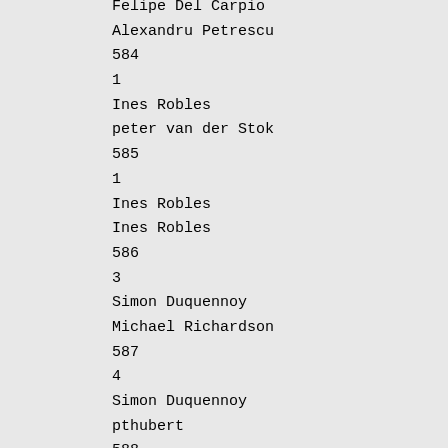Felipe Del Carpio
Alexandru Petrescu
584
1
Ines Robles
peter van der Stok
585
1
Ines Robles
Ines Robles
586
3
Simon Duquennoy
Michael Richardson
587
4
Simon Duquennoy
pthubert
588
1
Simon Duquennoy